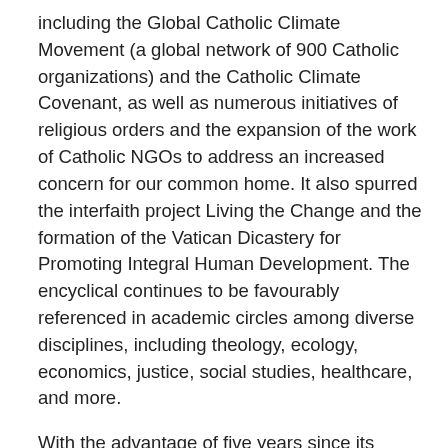including the Global Catholic Climate Movement (a global network of 900 Catholic organizations) and the Catholic Climate Covenant, as well as numerous initiatives of religious orders and the expansion of the work of Catholic NGOs to address an increased concern for our common home. It also spurred the interfaith project Living the Change and the formation of the Vatican Dicastery for Promoting Integral Human Development. The encyclical continues to be favourably referenced in academic circles among diverse disciplines, including theology, ecology, economics, justice, social studies, healthcare, and more.
With the advantage of five years since its release, a retrospective assessment of Laudato Si' gives a fuller appreciation of its accomplishments. For decades, ecotheologians had acknowledged the Christian teaching that there are two books of sacred revelation — viz., scripture and creation — bringing a renewed focus to exploring the theological and ethical